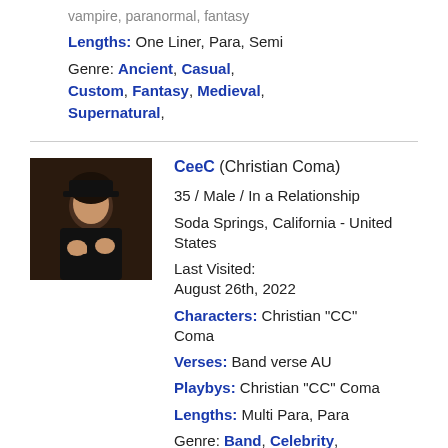vampire, paranormal, fantasy
Lengths: One Liner, Para, Semi
Genre: Ancient, Casual, Custom, Fantasy, Medieval, Supernatural,
CeeC (Christian Coma)
35 / Male / In a Relationship
Soda Springs, California - United States
Last Visited:
August 26th, 2022
Characters: Christian "CC" Coma
Verses: Band verse AU
Playbys: Christian "CC" Coma
Lengths: Multi Para, Para
Genre: Band, Celebrity,